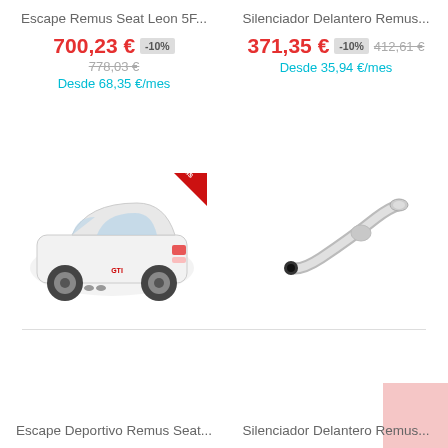Escape Remus Seat Leon 5F...
700,23 € -10% 778,03 € Desde 68,35 €/mes
Silenciador Delantero Remus...
371,35 € -10% 412,61 € Desde 35,94 €/mes
[Figure (photo): White car (Volkswagen Golf) viewed from rear with sporty exhaust, with 'envio gratis' ribbon badge]
[Figure (photo): Automotive exhaust pipe / silencer component on white background]
Escape Deportivo Remus Seat...
Silenciador Delantero Remus...